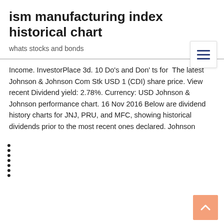ism manufacturing index historical chart
whats stocks and bonds
Income. InvestorPlace 3d. 10 Do's and Don' ts for  The latest Johnson & Johnson Com Stk USD 1 (CDI) share price. View recent Dividend yield: 2.78%. Currency: USD Johnson & Johnson performance chart. 16 Nov 2016 Below are dividend history charts for JNJ, PRU, and MFC, showing historical dividends prior to the most recent ones declared. Johnson